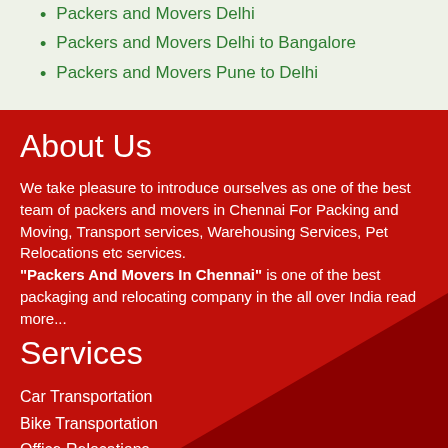Packers and Movers Delhi
Packers and Movers Delhi to Bangalore
Packers and Movers Pune to Delhi
About Us
We take pleasure to introduce ourselves as one of the best team of packers and movers in Chennai For Packing and Moving, Transport services, Warehousing Services, Pet Relocations etc services. "Packers And Movers In Chennai" is one of the best packaging and relocating company in the all over India read more...
Services
Car Transportation
Bike Transportation
Office Relocations
Household Transportation
Pet Relocations
Warehousing Transportation